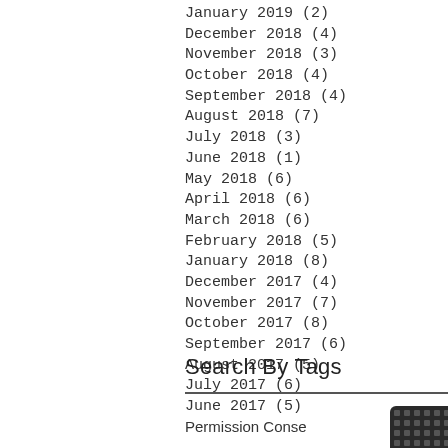January 2019 (2)
December 2018 (4)
November 2018 (3)
October 2018 (4)
September 2018 (4)
August 2018 (7)
July 2018 (3)
June 2018 (1)
May 2018 (6)
April 2018 (6)
March 2018 (6)
February 2018 (5)
January 2018 (8)
December 2017 (4)
November 2017 (7)
October 2017 (8)
September 2017 (6)
August 2017 (5)
July 2017 (6)
June 2017 (5)
Search By Tags
Permission Conse...